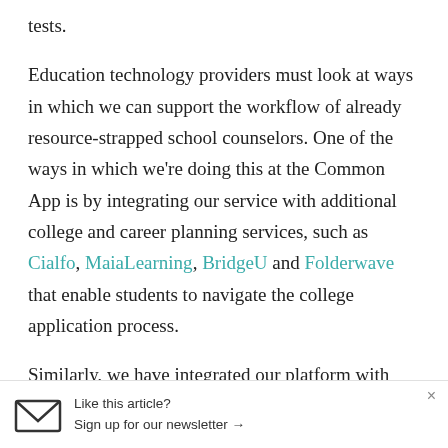tests.
Education technology providers must look at ways in which we can support the workflow of already resource-strapped school counselors. One of the ways in which we’re doing this at the Common App is by integrating our service with additional college and career planning services, such as Cialfo, MaiaLearning, BridgeU and Folderwave that enable students to navigate the college application process.
Similarly, we have integrated our platform with Google Drive to support file sharing and collaboration between students and counselors with a toolset that many K-12 educators are already
Like this article?
Sign up for our newsletter →